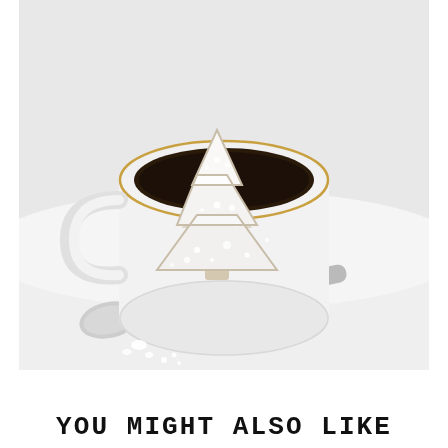[Figure (photo): A sugared Christmas tree-shaped cookie balanced on the rim of a white ceramic coffee mug filled with dark coffee. A silver spoon rests beside the mug on a white surface with small white sugar pearls scattered nearby.]
YOU MIGHT ALSO LIKE